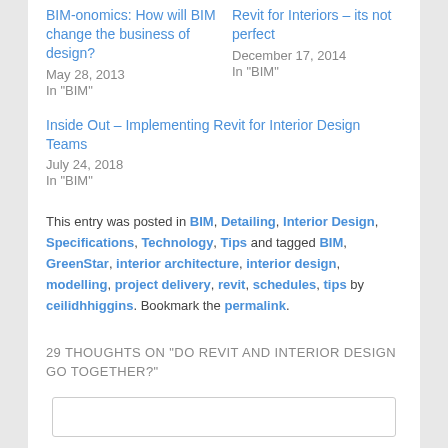BIM-onomics: How will BIM change the business of design?
May 28, 2013
In "BIM"
Revit for Interiors – its not perfect
December 17, 2014
In "BIM"
Inside Out – Implementing Revit for Interior Design Teams
July 24, 2018
In "BIM"
This entry was posted in BIM, Detailing, Interior Design, Specifications, Technology, Tips and tagged BIM, GreenStar, interior architecture, interior design, modelling, project delivery, revit, schedules, tips by ceilidhhiggins. Bookmark the permalink.
29 THOUGHTS ON "DO REVIT AND INTERIOR DESIGN GO TOGETHER?"